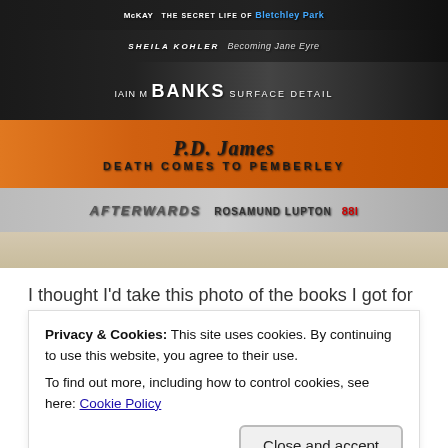[Figure (photo): A stack of books on a bedside shelf. Visible titles include: 'The Secret Life of Bletchley Park' (McKay), 'Becoming Jane Eyre' (Sheila Kohler), 'Surface Detail' (Iain M Banks), 'Death Comes to Pemberley' (P.D. James), 'Afterwards' (Rosamund Lupton), and 'Snuff' (Terry Pratchett).]
I thought I'd take this photo of the books I got for Christmas sitting on my bedside shelf. I've read some of
Privacy & Cookies: This site uses cookies. By continuing to use this website, you agree to their use.
To find out more, including how to control cookies, see here: Cookie Policy